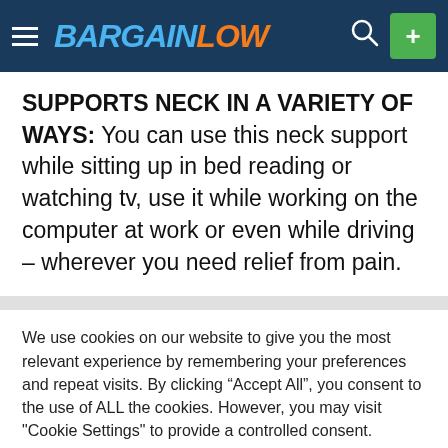BARGAINLOW
SUPPORTS NECK IN A VARIETY OF WAYS: You can use this neck support while sitting up in bed reading or watching tv, use it while working on the computer at work or even while driving – wherever you need relief from pain.
We use cookies on our website to give you the most relevant experience by remembering your preferences and repeat visits. By clicking “Accept All”, you consent to the use of ALL the cookies. However, you may visit "Cookie Settings" to provide a controlled consent.